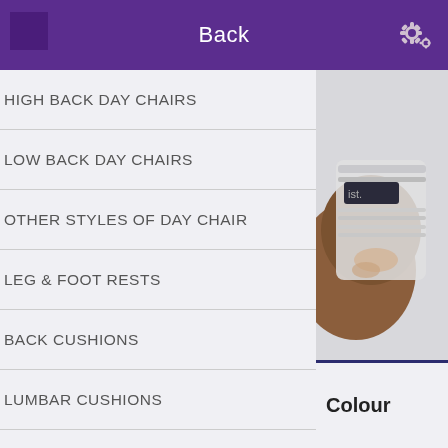Back
HIGH BACK DAY CHAIRS
LOW BACK DAY CHAIRS
OTHER STYLES OF DAY CHAIR
LEG & FOOT RESTS
BACK CUSHIONS
LUMBAR CUSHIONS
PATIENT HANDLING
MATTRESS PROTECTORS & SHEETS
[Figure (photo): Close-up product photo showing white/silver fabric binding or strap detail on a brown leather or faux-leather surface]
Colour